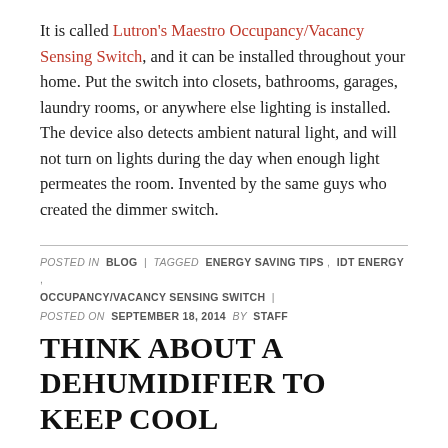It is called Lutron's Maestro Occupancy/Vacancy Sensing Switch, and it can be installed throughout your home. Put the switch into closets, bathrooms, garages, laundry rooms, or anywhere else lighting is installed. The device also detects ambient natural light, and will not turn on lights during the day when enough light permeates the room. Invented by the same guys who created the dimmer switch.
POSTED IN BLOG | TAGGED ENERGY SAVING TIPS , IDT ENERGY , OCCUPANCY/VACANCY SENSING SWITCH |
POSTED ON SEPTEMBER 18, 2014 BY STAFF
THINK ABOUT A DEHUMIDIFIER TO KEEP COOL
The Indian days of